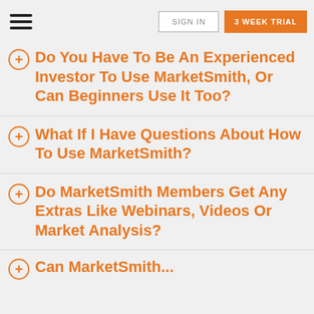SIGN IN | 3 WEEK TRIAL
Do You Have To Be An Experienced Investor To Use MarketSmith, Or Can Beginners Use It Too?
What If I Have Questions About How To Use MarketSmith?
Do MarketSmith Members Get Any Extras Like Webinars, Videos Or Market Analysis?
Can MarketSmith...